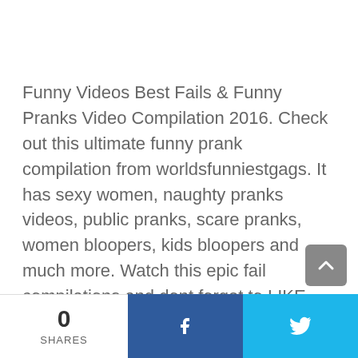Funny Videos Best Fails & Funny Pranks Video Compilation 2016. Check out this ultimate funny prank compilation from worldsfunniestgags. It has sexy women, naughty pranks videos, public pranks, scare pranks, women bloopers, kids bloopers and much more. Watch this epic fail compilations and dont forget to LIKE COMMENT & SHARE this wonderful video.
Visit our other channels: